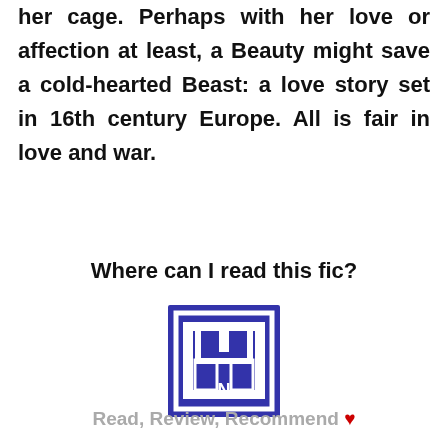her cage. Perhaps with her love or affection at least, a Beauty might save a cold-hearted Beast: a love story set in 16th century Europe. All is fair in love and war.
Where can I read this fic?
[Figure (logo): Square blue logo with white architectural/gate design and the letter N inside, resembling a fanfiction website logo]
Read, Review, Recommend ♥